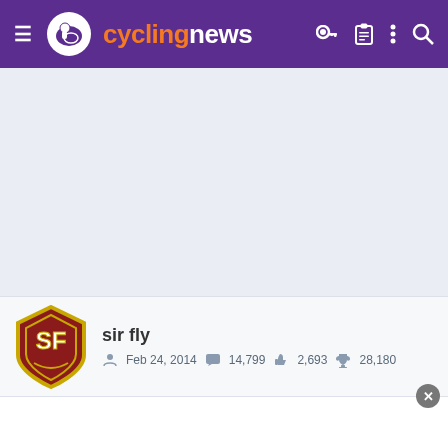cyclingnews
[Figure (screenshot): Large blank/gray content area (advertisement or content placeholder)]
sir fly
Feb 24, 2014  14,799  2,693  28,180
[Figure (screenshot): White panel at bottom with close button]